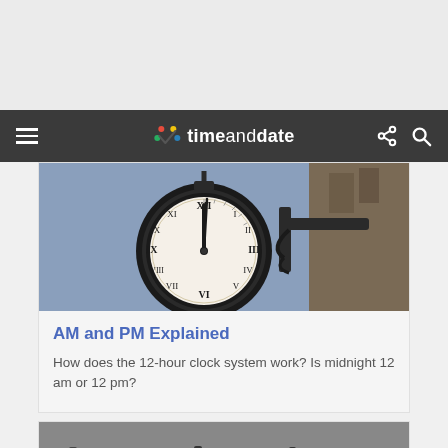timeanddate
[Figure (photo): A vintage ornate street clock with Roman numerals mounted on a decorative wrought iron bracket on a building, photographed against a blue-grey sky background.]
AM and PM Explained
How does the 12-hour clock system work? Is midnight 12 am or 12 pm?
[Figure (photo): A black and white historical photo showing a crowd of people outdoors with various clocks visible in the scene.]